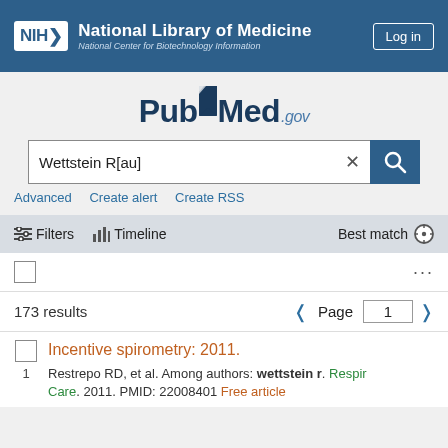NIH National Library of Medicine National Center for Biotechnology Information
[Figure (logo): PubMed.gov logo with open book bookmark icon]
Wettstein R[au]
Advanced   Create alert   Create RSS
Filters   Timeline   Best match
173 results   Page 1
Incentive spirometry: 2011.
Restrepo RD, et al. Among authors: wettstein r. Respir Care. 2011. PMID: 22008401 Free article